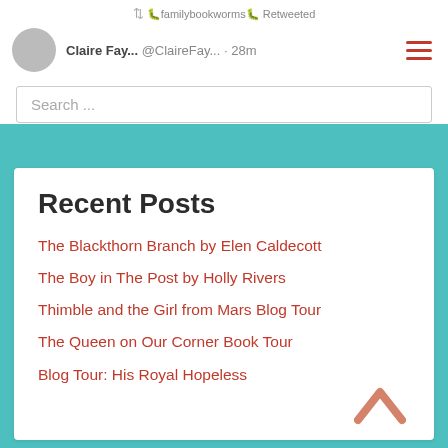[Figure (screenshot): Screenshot of a mobile web browser showing a Twitter/social media retweet notification: 'familybookworms Retweeted', username 'Claire Fay...' @ClaireFay... 28m, with a hamburger menu icon on the right]
Search ...
Recent Posts
The Blackthorn Branch by Elen Caldecott
The Boy in The Post by Holly Rivers
Thimble and the Girl from Mars Blog Tour
The Queen on Our Corner Book Tour
Blog Tour: His Royal Hopeless